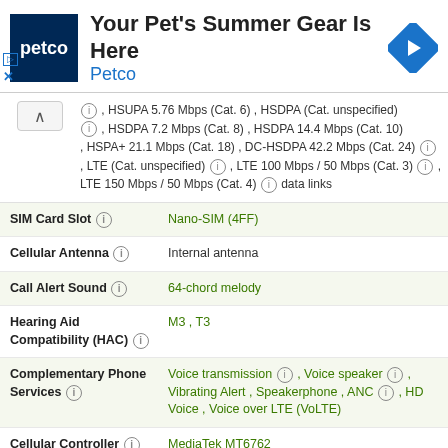[Figure (other): Petco advertisement banner with logo, title 'Your Pet's Summer Gear Is Here', subtitle 'Petco', and navigation arrow icon]
ⓘ , HSUPA 5.76 Mbps (Cat. 6) , HSDPA (Cat. unspecified) ⓘ , HSDPA 7.2 Mbps (Cat. 8) , HSDPA 14.4 Mbps (Cat. 10) , HSPA+ 21.1 Mbps (Cat. 18) , DC-HSDPA 42.2 Mbps (Cat. 24) ⓘ , LTE (Cat. unspecified) ⓘ , LTE 100 Mbps / 50 Mbps (Cat. 3) ⓘ , LTE 150 Mbps / 50 Mbps (Cat. 4) ⓘ data links
| Spec | Value |
| --- | --- |
| SIM Card Slot ⓘ | Nano-SIM (4FF) |
| Cellular Antenna ⓘ | Internal antenna |
| Call Alert Sound ⓘ | 64-chord melody |
| Hearing Aid Compatibility (HAC) ⓘ | M3 , T3 |
| Complementary Phone Services ⓘ | Voice transmission ⓘ , Voice speaker ⓘ , Vibrating Alert , Speakerphone , ANC ⓘ , HD Voice , Voice over LTE (VoLTE) |
| Cellular Controller ⓘ | MediaTek MT6762 |
Secondary Cellular Phone: